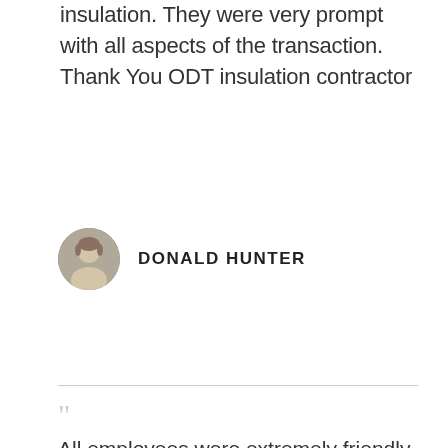insulation. They were very prompt with all aspects of the transaction. Thank You ODT insulation contractor
DONALD HUNTER
All employees were extremely friendly and professional. They blew insulation into my attic spaces. They were cleaned up after. They took their time to explain things to me whenever I asked without making me feel like a fool or novice. I am really impressed with how everything came out at the end of the day -